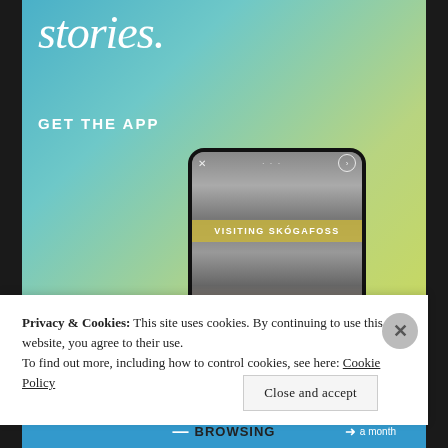[Figure (screenshot): App advertisement screenshot showing a gradient background (blue to yellow-green) with the text 'stories.' in large italic white font and 'GET THE APP' in white uppercase below it. A phone mockup displays a waterfall image labeled 'VISITING SKÓGAFOSS' in a yellow banner.]
Privacy & Cookies: This site uses cookies. By continuing to use this website, you agree to their use.
To find out more, including how to control cookies, see here: Cookie Policy
Close and accept
[Figure (screenshot): Bottom blue ad strip showing a dash, the word BROWSING in bold dark text, and a price/subscription indicator on the right with an arrow icon.]